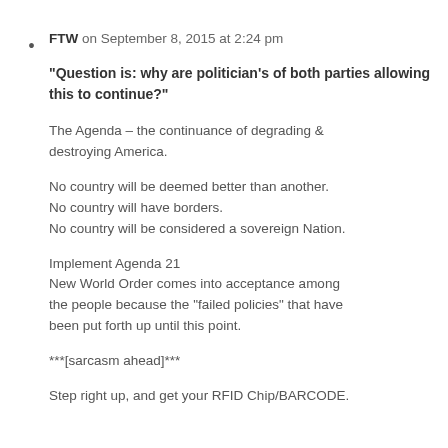FTW on September 8, 2015 at 2:24 pm
“Question is: why are politician’s of both parties allowing this to continue?”
The Agenda – the continuance of degrading & destroying America.
No country will be deemed better than another. No country will have borders. No country will be considered a sovereign Nation.
Implement Agenda 21
New World Order comes into acceptance among the people because the “failed policies” that have been put forth up until this point.
***[sarcasm ahead]***
Step right up, and get your RFID Chip/BARCODE.